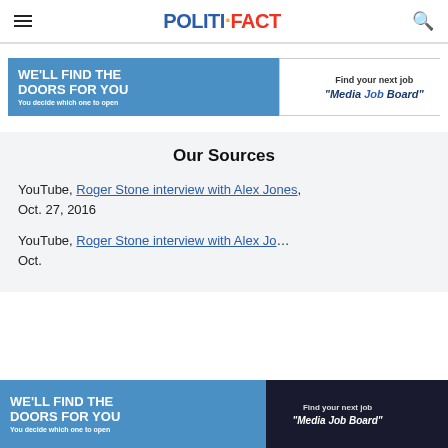POLITIFACT
[Figure (infographic): Media Job Board advertisement banner: 'We'll find the doors for you. You decide which one to open.' with 'Find your next job' and 'Media Job Board' logo on right side.]
Our Sources
YouTube, Roger Stone interview with Alex Jones, Oct. 27, 2016
YouTube, Roger Stone interview with Alex Jones, Oct. [continues]
[Figure (infographic): Bottom overlay advertisement banner: 'We'll find the doors for you. You decide which one to open.' with 'Find your next job' and 'Media Job Board' logo, close X button, and share button.]